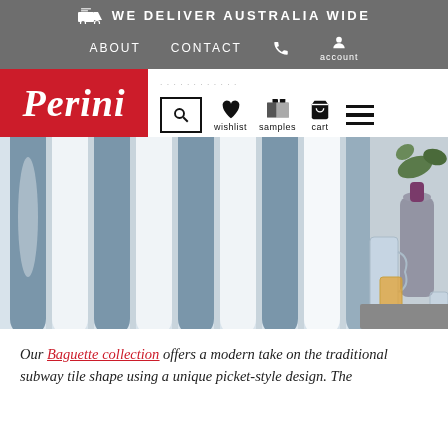WE DELIVER AUSTRALIA WIDE
ABOUT   CONTACT   account
[Figure (logo): Perini logo - italic white text on red background]
search wishlist samples cart menu
[Figure (photo): Baguette picket-style tiles in white and blue-grey, with glass jug, orange juice glass, and decorative bottle in foreground]
Our Baguette collection offers a modern take on the traditional subway tile shape using a unique picket-style design. The